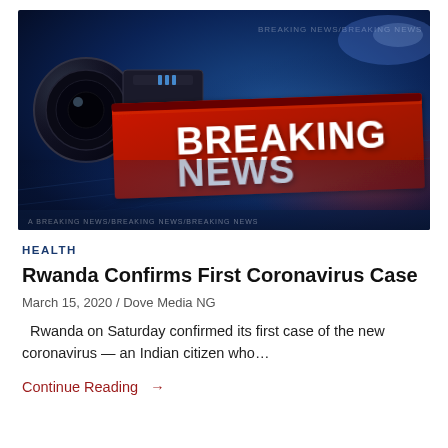[Figure (photo): Breaking News broadcast graphic with red banner reading 'BREAKING NEWS' in bold white text against a dark blue studio background with camera equipment visible.]
HEALTH
Rwanda Confirms First Coronavirus Case
March 15, 2020  /  Dove Media NG
Rwanda on Saturday confirmed its first case of the new coronavirus — an Indian citizen who…
Continue Reading  →